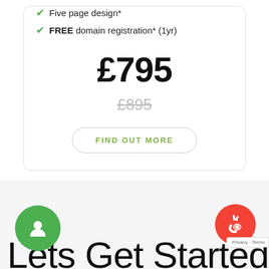✓ Five page design*
✓ FREE domain registration* (1yr)
£795
£895
FIND OUT MORE
Lets Get Started